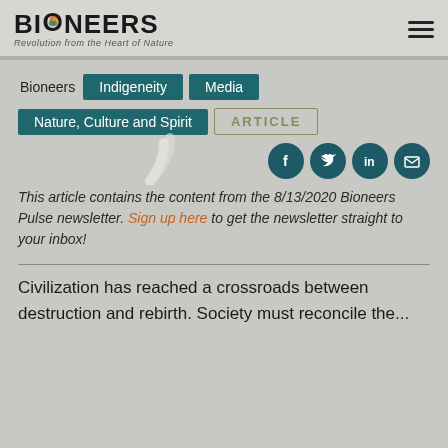BIONEERS — Revolution from the Heart of Nature
Bioneers
Indigeneity
Media
Nature, Culture and Spirit
ARTICLE
This article contains the content from the 8/13/2020 Bioneers Pulse newsletter. Sign up here to get the newsletter straight to your inbox!
Civilization has reached a crossroads between destruction and rebirth. Society must reconcile the...